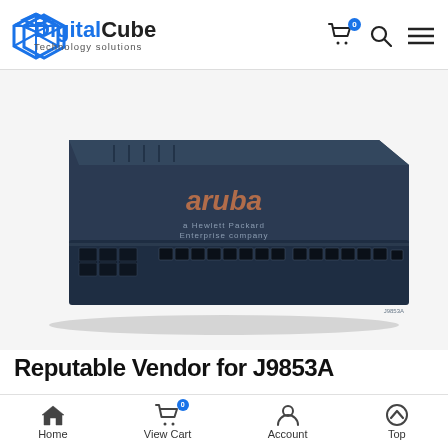Digital Cube Technology solutions
[Figure (photo): Aruba network switch (model J9853A), a 1U rack-mount unit with dark navy blue chassis, showing front panel with multiple RJ45 ports, SFP ports on the left, and the Aruba logo on top.]
Reputable Vendor for J9853A
Home  View Cart  Account  Top